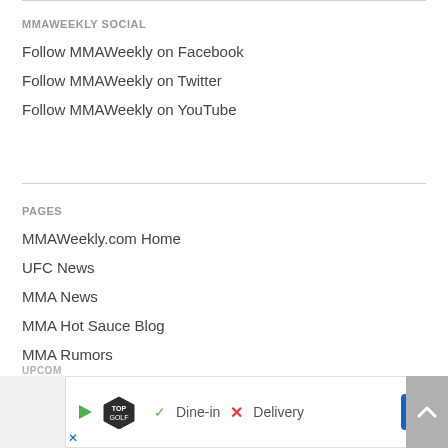MMAWEEKLY SOCIAL
Follow MMAWeekly on Facebook
Follow MMAWeekly on Twitter
Follow MMAWeekly on YouTube
PAGES
MMAWeekly.com Home
UFC News
MMA News
MMA Hot Sauce Blog
MMA Rumors
MMA Videos
MMA Photos
MMA Podcasts
Contact Us
Privacy Policy
UPCOMING
UFC 235: Jones vs Smith
[Figure (screenshot): Advertisement banner: TopGolf with Dine-in checkmark and Delivery X options, plus navigation arrow icon]